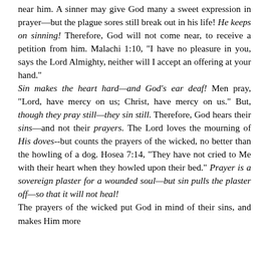near him. A sinner may give God many a sweet expression in prayer—but the plague sores still break out in his life! He keeps on sinning! Therefore, God will not come near, to receive a petition from him. Malachi 1:10, "I have no pleasure in you, says the Lord Almighty, neither will I accept an offering at your hand."
Sin makes the heart hard—and God's ear deaf! Men pray, "Lord, have mercy on us; Christ, have mercy on us." But, though they pray still—they sin still. Therefore, God hears their sins—and not their prayers. The Lord loves the mourning of His doves--but counts the prayers of the wicked, no better than the howling of a dog. Hosea 7:14, "They have not cried to Me with their heart when they howled upon their bed." Prayer is a sovereign plaster for a wounded soul—but sin pulls the plaster off—so that it will not heal!
The prayers of the wicked put God in mind of their sins, and makes Him more